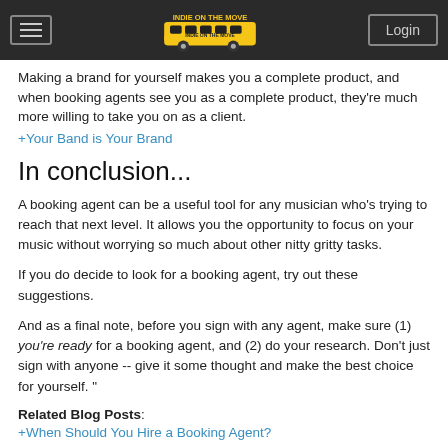Indie on the Move [logo] Login
Making a brand for yourself makes you a complete product, and when booking agents see you as a complete product, they're much more willing to take you on as a client.
+Your Band is Your Brand
In conclusion...
A booking agent can be a useful tool for any musician who's trying to reach that next level. It allows you the opportunity to focus on your music without worrying so much about other nitty gritty tasks.
If you do decide to look for a booking agent, try out these suggestions.
And as a final note, before you sign with any agent, make sure (1) you're ready for a booking agent, and (2) do your research. Don't just sign with anyone -- give it some thought and make the best choice for yourself. "
Related Blog Posts: +When Should You Hire a Booking Agent?